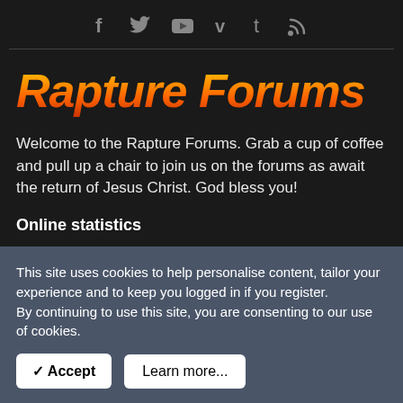f  Twitter  YouTube  v  t  RSS (social media icons)
Rapture Forums
Welcome to the Rapture Forums. Grab a cup of coffee and pull up a chair to join us on the forums as await the return of Jesus Christ. God bless you!
Online statistics
This site uses cookies to help personalise content, tailor your experience and to keep you logged in if you register.
By continuing to use this site, you are consenting to our use of cookies.